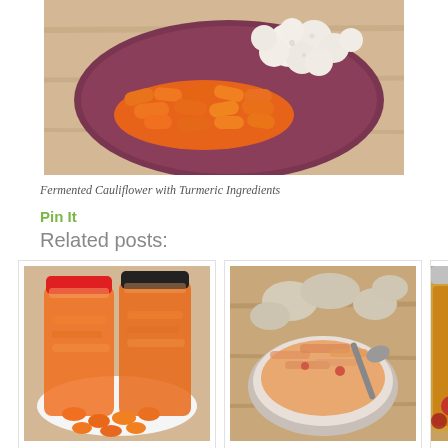[Figure (photo): Photo of a dark purple/maroon plate with sliced orange carrots and white cauliflower florets arranged on it, shot from above on a wooden surface]
Fermented Cauliflower with Turmeric Ingredients
Pin It
Related posts:
[Figure (photo): Two large mason jars filled with fermented orange carrots with red and black lids, sitting on a white plate surrounded by sliced carrot rounds]
Fermented Carrots with Turmeric and Ginger
[Figure (photo): Bowl of kimchi with a spoon, surrounded by ginger root pieces on a wooden surface]
Kimchi Recipe (Paleo, Vegan)
[Figure (photo): Partial view of a jar with liquid, partially cut off at the right edge, with what appears to be a pomegranate in the foreground]
Ko